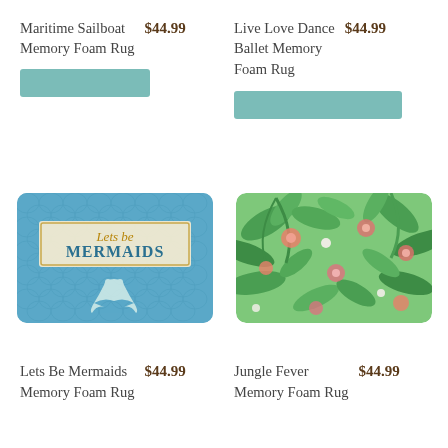Maritime Sailboat Memory Foam Rug
$44.99
[Figure (other): Add to cart button placeholder (teal rectangle)]
Live Love Dance Ballet Memory Foam Rug
$44.99
[Figure (other): Add to cart button placeholder (teal rectangle)]
[Figure (photo): Lets Be Mermaids Memory Foam Rug - blue mermaid scale pattern with text banner]
[Figure (photo): Jungle Fever Memory Foam Rug - tropical floral pattern with green leaves and pink flowers]
Lets Be Mermaids Memory Foam Rug
$44.99
Jungle Fever Memory Foam Rug
$44.99